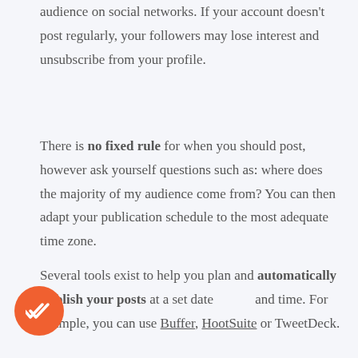audience on social networks. If your account doesn't post regularly, your followers may lose interest and unsubscribe from your profile.
There is no fixed rule for when you should post, however ask yourself questions such as: where does the majority of my audience come from? You can then adapt your publication schedule to the most adequate time zone.
Several tools exist to help you plan and automatically publish your posts at a set date and time. For example, you can use Buffer, HootSuite or TweetDeck.